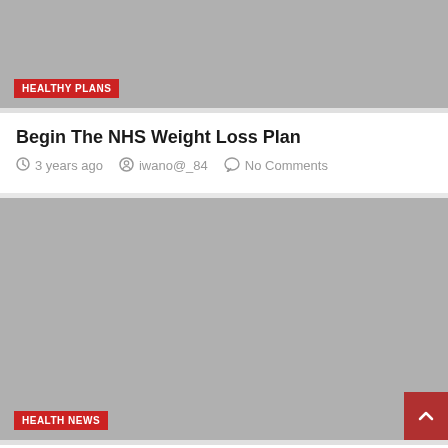[Figure (photo): Gray placeholder image with HEALTHY PLANS category badge]
Begin The NHS Weight Loss Plan
3 years ago   iwano@_84   No Comments
[Figure (photo): Gray placeholder image with HEALTH NEWS category badge and scroll-to-top button]
Begin Your Fitness Journey
4 years ago   iwano@_84   No Comments